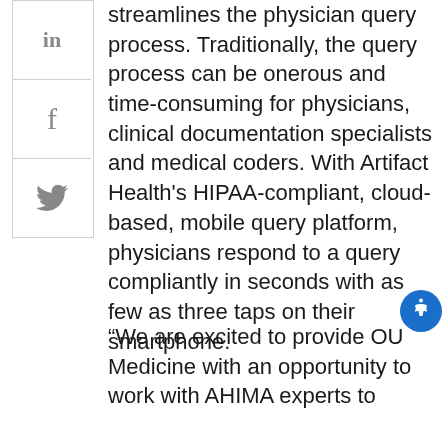[Figure (other): Social media sharing sidebar with LinkedIn, Facebook, and Twitter icons in bordered boxes]
streamlines the physician query process. Traditionally, the query process can be onerous and time-consuming for physicians, clinical documentation specialists and medical coders. With Artifact Health's HIPAA-compliant, cloud-based, mobile query platform, physicians respond to a query compliantly in seconds with as few as three taps on their smartphone.
“We are excited to provide OU Medicine with an opportunity to work with AHIMA experts to